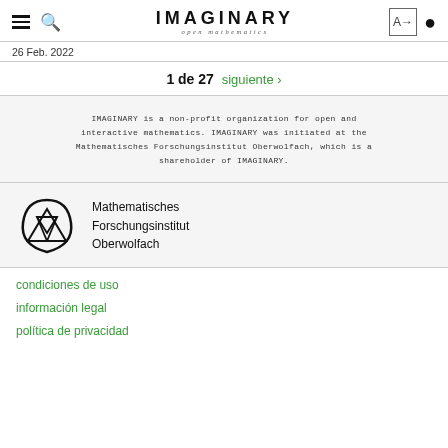IMAGINARY open mathematics
26 Feb. 2022
1 de 27  siguiente ›
IMAGINARY is a non-profit organization for open and interactive mathematics. IMAGINARY was initiated at the Mathematisches Forschungsinstitut Oberwolfach, which is a shareholder of IMAGINARY.
[Figure (logo): Mathematisches Forschungsinstitut Oberwolfach logo with triangle/shield shape and text]
condiciones de uso
información legal
política de privacidad